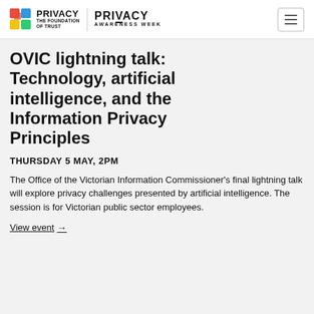Privacy The Foundation of Trust | Privacy Awareness Week
OVIC lightning talk: Technology, artificial intelligence, and the Information Privacy Principles
THURSDAY 5 MAY, 2PM
The Office of the Victorian Information Commissioner's final lightning talk will explore privacy challenges presented by artificial intelligence. The session is for Victorian public sector employees.
View event →